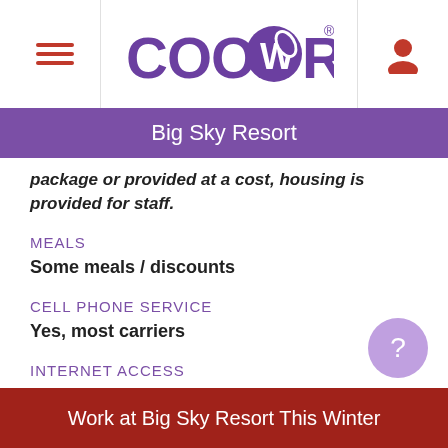CoolWorks — Big Sky Resort
package or provided at a cost, housing is provided for staff.
MEALS
Some meals / discounts
CELL PHONE SERVICE
Yes, most carriers
INTERNET ACCESS
Good
Work at Big Sky Resort This Winter